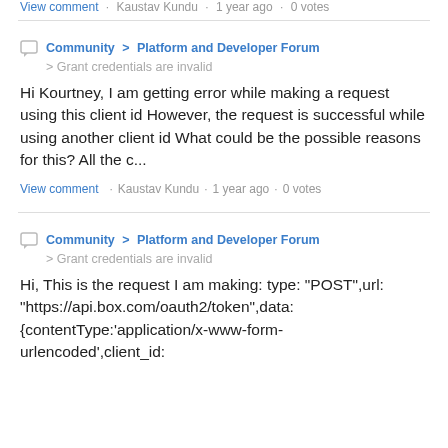View comment · Kaustav Kundu · 1 year ago · 0 votes
Community > Platform and Developer Forum > Grant credentials are invalid
Hi Kourtney, I am getting error while making a request using this client id However, the request is successful while using another client id What could be the possible reasons for this? All the c...
View comment · Kaustav Kundu · 1 year ago · 0 votes
Community > Platform and Developer Forum > Grant credentials are invalid
Hi, This is the request I am making: type: "POST",url: "https://api.box.com/oauth2/token",data: {contentType:'application/x-www-form-urlencoded',client_id: